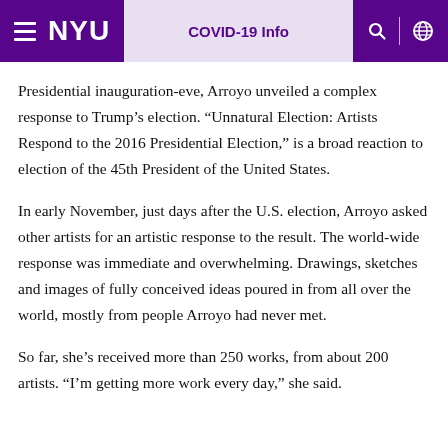NYU | COVID-19 Info
Presidential inauguration-eve, Arroyo unveiled a complex response to Trump’s election. “Unnatural Election: Artists Respond to the 2016 Presidential Election,” is a broad reaction to election of the 45th President of the United States.
In early November, just days after the U.S. election, Arroyo asked other artists for an artistic response to the result. The world-wide response was immediate and overwhelming. Drawings, sketches and images of fully conceived ideas poured in from all over the world, mostly from people Arroyo had never met.
So far, she’s received more than 250 works, from about 200 artists. “I’m getting more work every day,” she said.